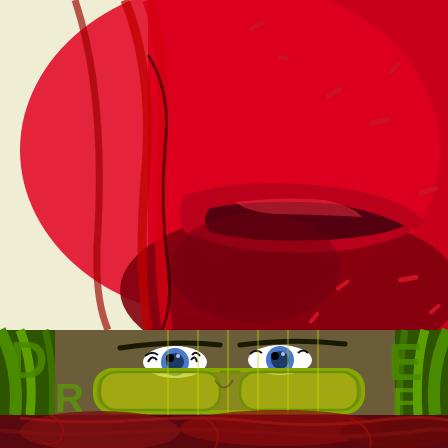[Figure (illustration): A stylized graphic artwork in three horizontal bands. Top band: red-toned pop-art style illustration of a woman's face focusing on lips/lower face, with bright red hair and fragmented red shapes on a cream/ivory background, dark red shadowing. Middle band: green-toned illustration of a woman's face focusing on the eyes and nose bridge, with bright green hair and large yellow-green tinted goggle-style sunglasses, blue eyes visible, vertical stripe pattern overlay, partially visible large green text letters framing both sides. Bottom band: dark red/maroon swirling abstract or visceral texture, partially visible.]